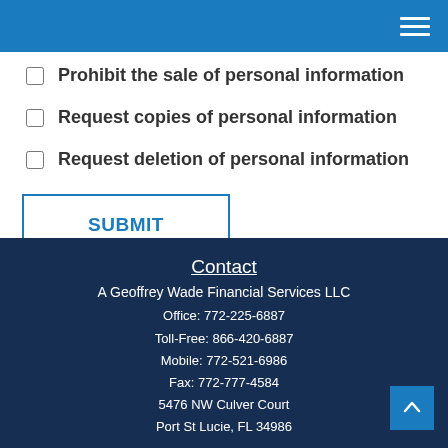Prohibit the sale of personal information
Request copies of personal information
Request deletion of personal information
SUBMIT
Contact
A Geoffrey Wade Financial Services LLC
Office: 772-225-6887
Toll-Free: 866-420-6887
Mobile: 772-521-6986
Fax: 772-777-4584
5476 NW Culver Court
Port St Lucie, FL 34986